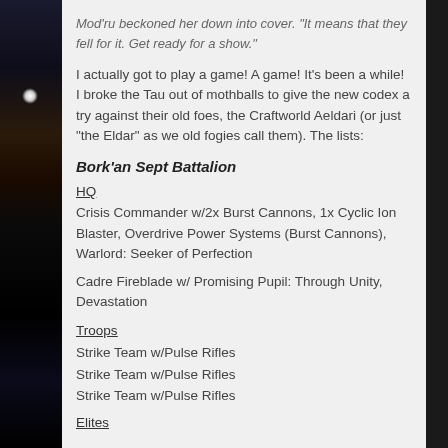Mod'ru beckoned her down into cover. "It means that they fell for it. Get ready for a show."
I actually got to play a game! A game! It's been a while! I broke the Tau out of mothballs to give the new codex a try against their old foes, the Craftworld Aeldari (or just "the Eldar" as we old fogies call them). The lists:
Bork'an Sept Battalion
HQ
Crisis Commander w/2x Burst Cannons, 1x Cyclic Ion Blaster, Overdrive Power Systems (Burst Cannons), Warlord: Seeker of Perfection
Cadre Fireblade w/ Promising Pupil: Through Unity, Devastation
Troops
Strike Team w/Pulse Rifles
Strike Team w/Pulse Rifles
Strike Team w/Pulse Rifles
Elites